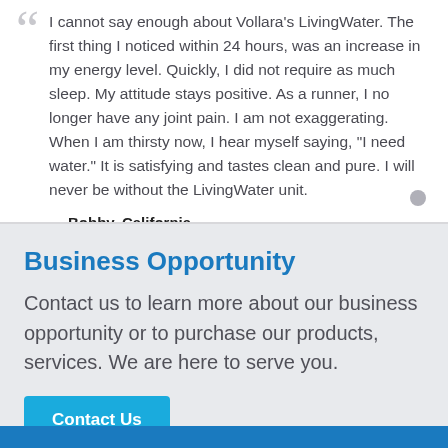I cannot say enough about Vollara's LivingWater. The first thing I noticed within 24 hours, was an increase in my energy level. Quickly, I did not require as much sleep. My attitude stays positive. As a runner, I no longer have any joint pain. I am not exaggerating. When I am thirsty now, I hear myself saying, "I need water." It is satisfying and tastes clean and pure. I will never be without the LivingWater unit.
Bobby, California
Business Opportunity
Contact us to learn more about our business opportunity or to purchase our products, services. We are here to serve you.
Contact Us